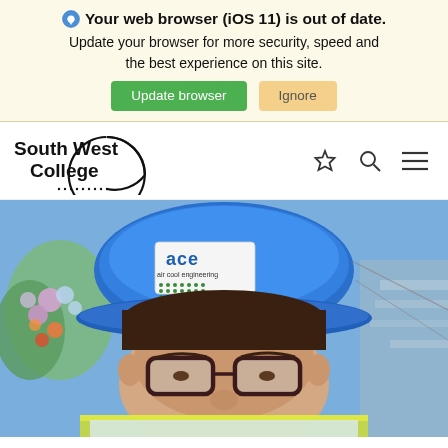Your web browser (iOS 11) is out of date. Update your browser for more security, speed and the best experience on this site.
[Figure (logo): South West College logo with circular arc and dotted underline]
[Figure (photo): Person wearing a blue hard hat labeled 'ace air cool engineering' with glasses and high-visibility jacket, with flowers in background]